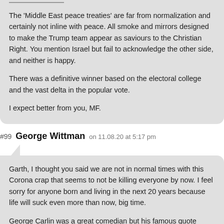The 'Middle East peace treaties' are far from normalization and certainly not inline with peace. All smoke and mirrors designed to make the Trump team appear as saviours to the Christian Right. You mention Israel but fail to acknowledge the other side, and neither is happy.
There was a definitive winner based on the electoral college and the vast delta in the popular vote.
I expect better from you, MF.
#99 George Wittman on 11.08.20 at 5:17 pm
Garth, I thought you said we are not in normal times with this Corona crap that seems to not be killing everyone by now. I feel sorry for anyone born and living in the next 20 years because life will suck even more than now, big time.
George Carlin was a great comedian but his famous quote they've got you by the balls is more proof today then ever. Don't think critically, believe all the BS, this is what they want.